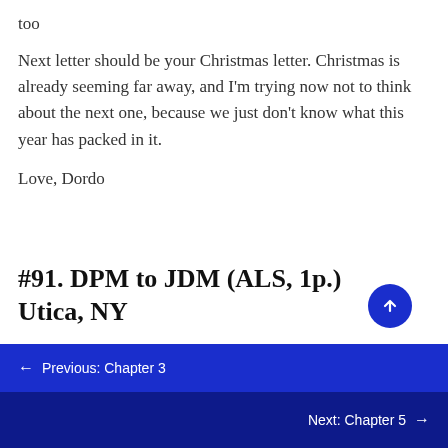too
Next letter should be your Christmas letter. Christmas is already seeming far away, and I'm trying now not to think about the next one, because we just don't know what this year has packed in it.
Love, Dordo
#91. DPM to JDM (ALS, 1p.) Utica, NY
← Previous: Chapter 3
Next: Chapter 5 →